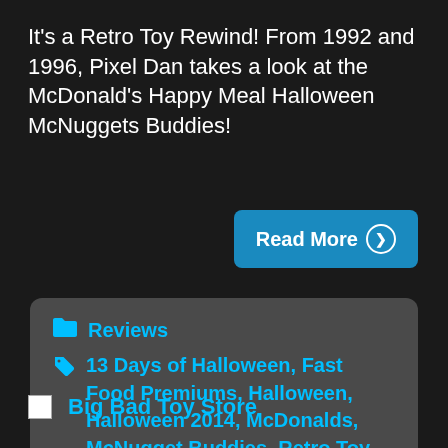It's a Retro Toy Rewind! From 1992 and 1996, Pixel Dan takes a look at the McDonald's Happy Meal Halloween McNuggets Buddies!
Read More ➡
Reviews
13 Days of Halloween, Fast Food Premiums, Halloween, Halloween 2014, McDonalds, McNugget Buddies, Retro Toy Rewind
Big Bad Toy Store